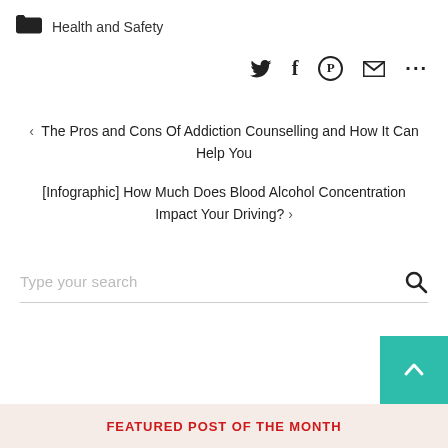Health and Safety
[Figure (other): Social sharing icons: Twitter, Facebook, Pinterest, Email, More (...)]
< The Pros and Cons Of Addiction Counselling and How It Can Help You
[Infographic] How Much Does Blood Alcohol Concentration Impact Your Driving? >
Type your search
FEATURED POST OF THE MONTH